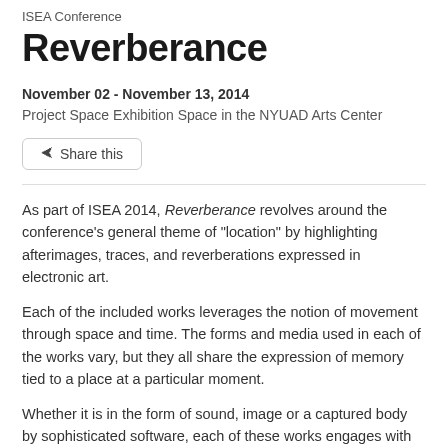ISEA Conference
Reverberance
November 02 - November 13, 2014
Project Space Exhibition Space in the NYUAD Arts Center
Share this
As part of ISEA 2014, Reverberance revolves around the conference's general theme of “location” by highlighting afterimages, traces, and reverberations expressed in electronic art.
Each of the included works leverages the notion of movement through space and time. The forms and media used in each of the works vary, but they all share the expression of memory tied to a place at a particular moment.
Whether it is in the form of sound, image or a captured body by sophisticated software, each of these works engages with the history of bodies moving through space, documenting them and focusing our attention in ways that can be surprising